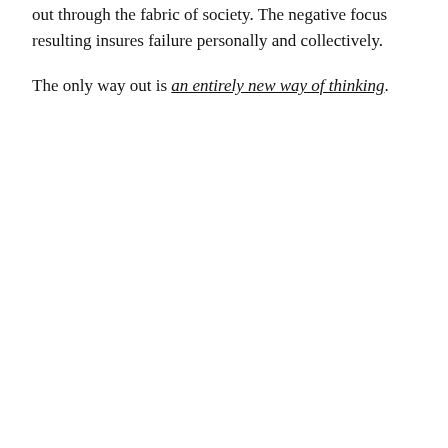out through the fabric of society. The negative focus resulting insures failure personally and collectively.
The only way out is an entirely new way of thinking.